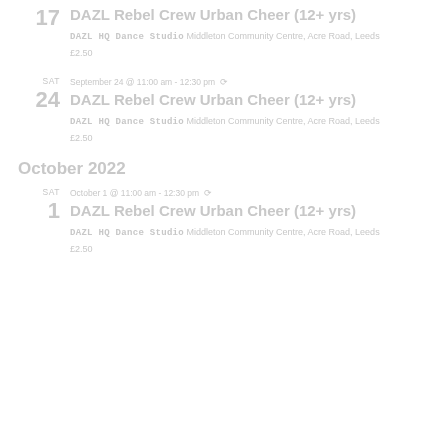17 DAZL Rebel Crew Urban Cheer (12+ yrs) — DAZL HQ Dance Studio Middleton Community Centre, Acre Road, Leeds — £2.50
SAT September 24 @ 11:00 am - 12:30 pm ↺ 24 DAZL Rebel Crew Urban Cheer (12+ yrs) — DAZL HQ Dance Studio Middleton Community Centre, Acre Road, Leeds — £2.50
October 2022
SAT October 1 @ 11:00 am - 12:30 pm ↺ 1 DAZL Rebel Crew Urban Cheer (12+ yrs) — DAZL HQ Dance Studio Middleton Community Centre, Acre Road, Leeds — £2.50